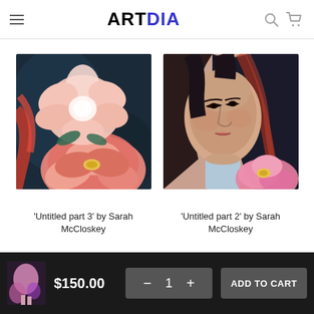ARTDIA — navigation header with hamburger menu, logo, search and cart icons
[Figure (photo): Painting of large pink peony flowers on a dark background with red flowing hair — 'Untitled part 3' by Sarah McCloskey]
[Figure (photo): Painting of a woman's face with dark hair and a pink peony flower — 'Untitled part 2' by Sarah McCloskey]
'Untitled part 3' by Sarah McCloskey
'Untitled part 2' by Sarah McCloskey
$150.00  −  1  +  ADD TO CART